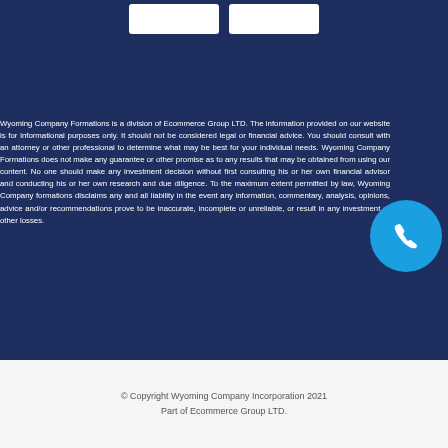[Figure (other): Two white rectangular buttons on dark navy background at top of page]
Wyoming Company Formations is a division of Ecommerce Group LTD. The information provided on our website is for informational purposes only. It should not be considered legal or financial advice. You should consult with an attorney or other professional to determine what may be best for your individual needs. Wyoming Company Formations does not make any guarantee or other promise as to any results that may be obtained from using our content. No one should make any investment decision without first consulting his or her own financial advisor and conducting his or her own research and due diligence. To the maximum extent permitted by law, Wyoming Company formations disclaims any and all liability in the event any information, commentary, analysis, opinions, advice and/or recommendations prove to be inaccurate, incomplete or unreliable, or result in any investment or other losses.
© Copyright Wyoming Company Incorporation 2021
Part of Ecommerce Group LTD.